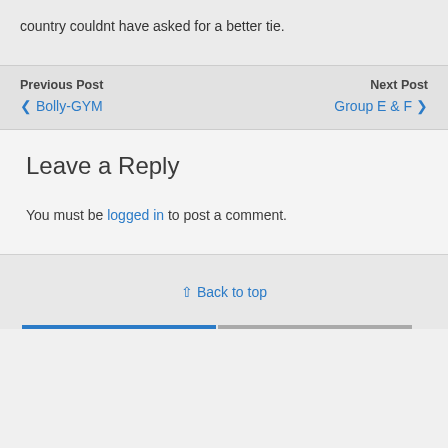country couldnt have asked for a better tie.
Previous Post  Next Post
◀ Bolly-GYM   Group E & F ▶
Leave a Reply
You must be logged in to post a comment.
⇧ Back to top